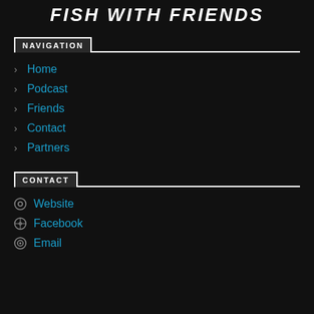FISH WITH FRIENDS
NAVIGATION
Home
Podcast
Friends
Contact
Partners
CONTACT
Website
Facebook
Email